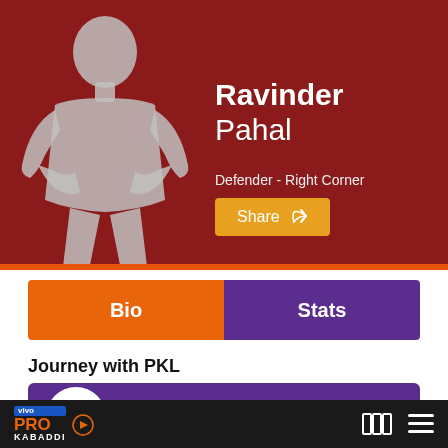[Figure (illustration): Gray silhouette of a male athlete standing with hands on hips on dark red background]
Ravinder Pahal
Defender - Right Corner
Share
Bio
Stats
Journey with PKL
Gujarat Giants
vivo PRO KABADDI